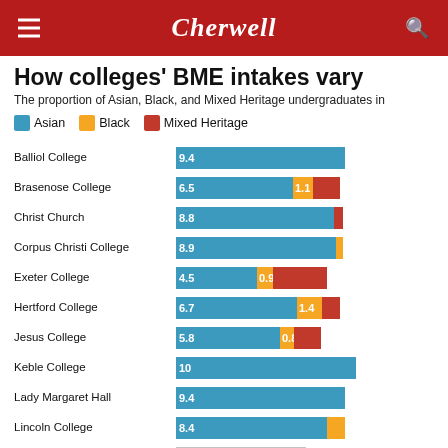Cherwell
How colleges' BME intakes vary
The proportion of Asian, Black, and Mixed Heritage undergraduates in
[Figure (stacked-bar-chart): How colleges' BME intakes vary]